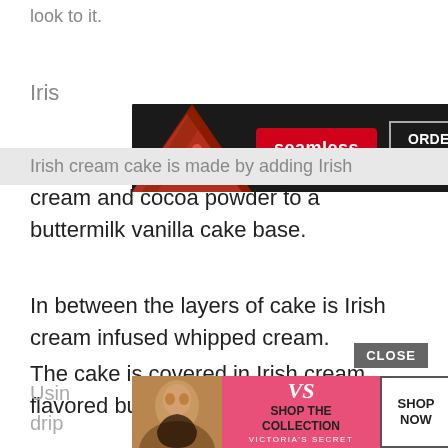look to it.
[Figure (screenshot): Seamless food delivery advertisement banner with pizza image, red 'seamless' button, and 'ORDER NOW' box on dark background]
Iris
Irish cream cake is made by adding Irish cream and cocoa powder to a buttermilk vanilla cake base.
In between the layers of cake is Irish cream infused whipped cream.
The cake is covered in Irish cream flavored buttercream icing.
Usin he is drip he
[Figure (screenshot): Victoria's Secret advertisement with model, VS logo, 'SHOP THE COLLECTION' text on pink background, and 'SHOP NOW' white button]